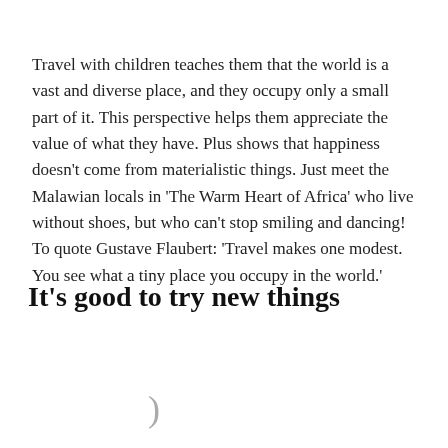Travel with children teaches them that the world is a vast and diverse place, and they occupy only a small part of it. This perspective helps them appreciate the value of what they have. Plus shows that happiness doesn't come from materialistic things. Just meet the Malawian locals in 'The Warm Heart of Africa' who live without shoes, but who can't stop smiling and dancing! To quote Gustave Flaubert: 'Travel makes one modest. You see what a tiny place you occupy in the world.'
It's good to try new things